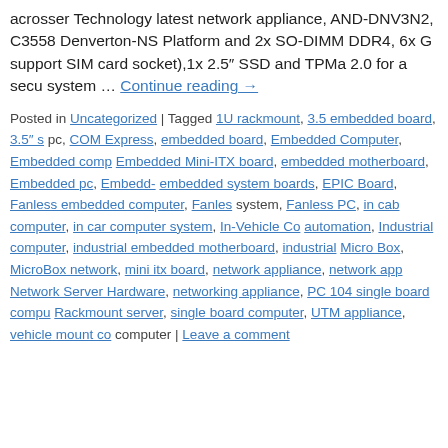acrosser Technology latest network appliance, AND-DNV3N2, C3558 Denverton-NS Platform and 2x SO-DIMM DDR4, 6x G support SIM card socket),1x 2.5" SSD and TPMa 2.0 for a secu system … Continue reading →
Posted in Uncategorized | Tagged 1U rackmount, 3.5 embedded board, 3.5" … pc, COM Express, embedded board, Embedded Computer, Embedded comp… Embedded Mini-ITX board, embedded motherboard, Embedded pc, Embedd… embedded system boards, EPIC Board, Fanless embedded computer, Fanles… system, Fanless PC, in cab computer, in car computer system, In-Vehicle Co… automation, Industrial computer, industrial embedded motherboard, industrial… Micro Box, MicroBox network, mini itx board, network appliance, network app… Network Server Hardware, networking appliance, PC 104 single board compu… Rackmount server, single board computer, UTM appliance, vehicle mount co… computer | Leave a comment